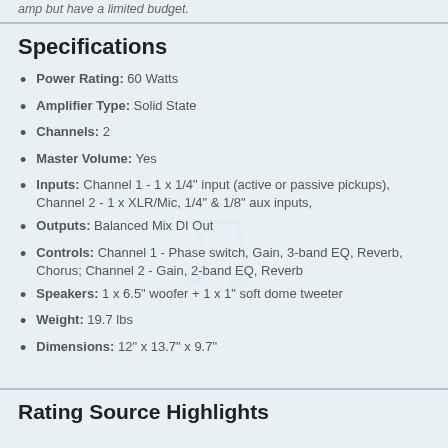amp but have a limited budget.
Specifications
Power Rating: 60 Watts
Amplifier Type: Solid State
Channels: 2
Master Volume: Yes
Inputs: Channel 1 - 1 x 1/4" input (active or passive pickups), Channel 2 - 1 x XLR/Mic, 1/4" & 1/8" aux inputs,
Outputs: Balanced Mix DI Out
Controls: Channel 1 - Phase switch, Gain, 3-band EQ, Reverb, Chorus; Channel 2 - Gain, 2-band EQ, Reverb
Speakers: 1 x 6.5" woofer + 1 x 1" soft dome tweeter
Weight: 19.7 lbs
Dimensions: 12" x 13.7" x 9.7"
Rating Source Highlights